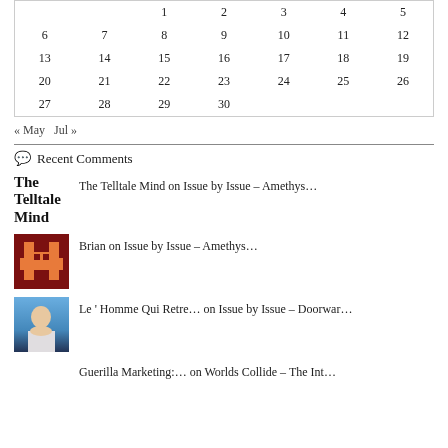|  |  | 1 | 2 | 3 | 4 | 5 |
| 6 | 7 | 8 | 9 | 10 | 11 | 12 |
| 13 | 14 | 15 | 16 | 17 | 18 | 19 |
| 20 | 21 | 22 | 23 | 24 | 25 | 26 |
| 27 | 28 | 29 | 30 |  |  |  |
« May  Jul »
Recent Comments
The Telltale Mind on Issue by Issue – Amethys…
Brian on Issue by Issue – Amethys…
Le ' Homme Qui Retre… on Issue by Issue – Doorwar…
Guerilla Marketing:… on Worlds Collide – The Int…